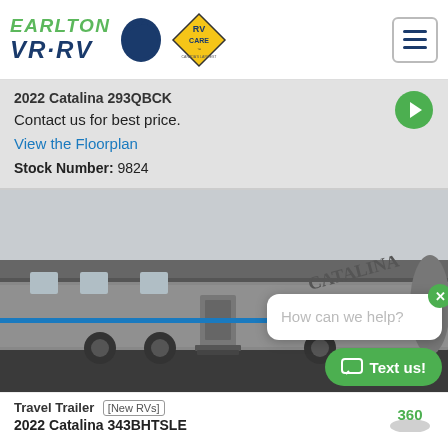Earlton VR·RV — RV Care — Navigation menu
2022 Catalina 293QBCK
Contact us for best price.
View the Floorplan
Stock Number: 9824
[Figure (photo): Photo of a Catalina travel trailer RV parked outdoors, with a chat popup overlay showing 'How can we help?' and a green 'Text us!' button]
Travel Trailer [New RVs]
2022 Catalina 343BHTSLE